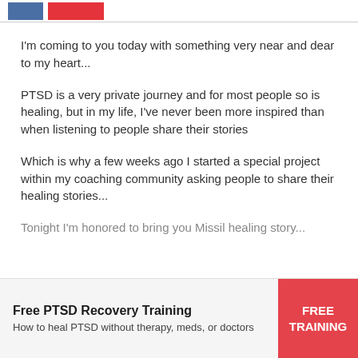[Figure (other): Top bar with two colored image/logo boxes separated by a horizontal rule]
I'm coming to you today with something very near and dear to my heart...
PTSD is a very private journey and for most people so is healing, but in my life, I've never been more inspired than when listening to people share their stories
Which is why a few weeks ago I started a special project within my coaching community asking people to share their healing stories...
Tonight I'm honored to bring you Missil healing story...
Free PTSD Recovery Training — How to heal PTSD without therapy, meds, or doctors — FREE TRAINING